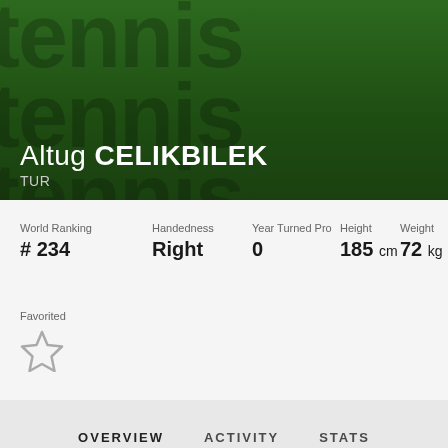[Figure (illustration): Green gradient background with large grey watermark text 'tennis' repeated]
Altug CELIKBILEK
TUR
| World Ranking | Handedness | Year Turned Pro | Height | Weight |
| --- | --- | --- | --- | --- |
| # 234 | Right | 0 | 185 cm | 72 kg |
Favorited
OVERVIEW  ACTIVITY  STATS
SHOP GEAR